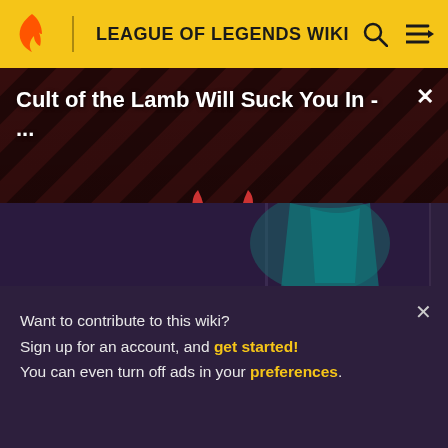LEAGUE OF LEGENDS WIKI
[Figure (screenshot): Video advertisement thumbnail for 'Cult of the Lamb Will Suck You In - ...' showing a cartoon lamb character with red eyes on a dark diagonal striped background with 'THE LOOP' watermark, a play button in the center, and NaN:NaN timer badge]
[Figure (screenshot): Partial image of a gaming character in teal/blue costume at bottom of screen]
Want to contribute to this wiki?
Sign up for an account, and get started!
You can even turn off ads in your preferences.